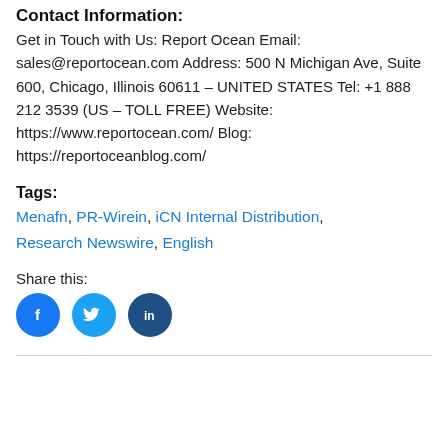Contact Information:
Get in Touch with Us: Report Ocean Email: sales@reportocean.com Address: 500 N Michigan Ave, Suite 600, Chicago, Illinois 60611 – UNITED STATES Tel: +1 888 212 3539 (US – TOLL FREE) Website: https://www.reportocean.com/ Blog: https://reportoceanblog.com/
Tags:
Menafn, PR-Wirein, iCN Internal Distribution, Research Newswire, English
Share this:
[Figure (illustration): Three social media icon buttons: Facebook (blue circle with f icon), Twitter (lighter blue circle with bird icon), LinkedIn (dark blue circle with in icon)]